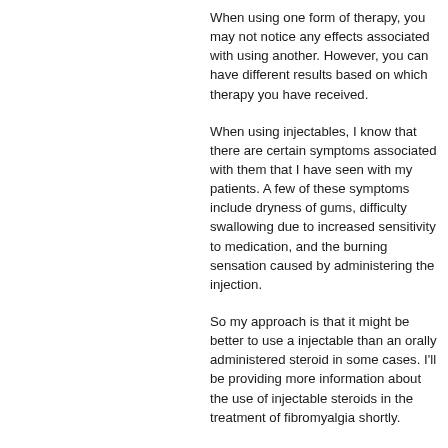When using one form of therapy, you may not notice any effects associated with using another. However, you can have different results based on which therapy you have received.
When using injectables, I know that there are certain symptoms associated with them that I have seen with my patients. A few of these symptoms include dryness of gums, difficulty swallowing due to increased sensitivity to medication, and the burning sensation caused by administering the injection.
So my approach is that it might be better to use a injectable than an orally administered steroid in some cases. I'll be providing more information about the use of injectable steroids in the treatment of fibromyalgia shortly.